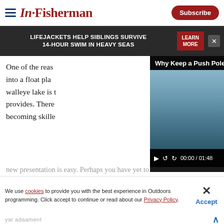In-Fisherman
[Figure (screenshot): Advertisement banner: LIFEJACKETS HELP SIBLINGS SURVIVE 14-HOUR SWIM IN HEAVY SEAS with LEARN MORE button]
[Figure (screenshot): Video player overlay: Why Keep a Push Pole in Your BASS Boat ALWAYS? — video thumbnail showing man with push pole near water, controls showing 00:00 / 01:48]
One of the reas... into a float pla... walleye lake is t... provides. There... becoming skille...
new presentation is easy. Perhaps you have yet to
We use cookies to provide you with the best experience in Outdoors programming. Click accept to continue or read about our Privacy Policy.
yar adaament
[Figure (screenshot): Advertisement banner: FATHERLY ADVICE HELPED SAVE A KAYAK ANGELR'S LIFE with READ STORY button and kayak image]